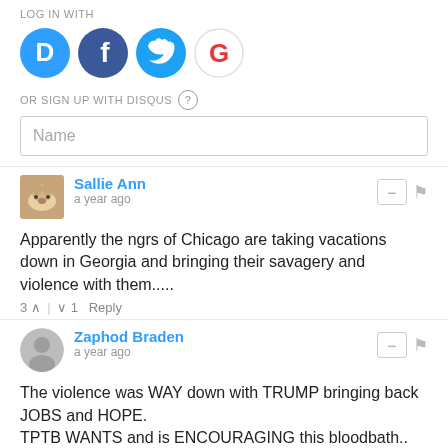LOG IN WITH
[Figure (logo): Four social login icons: Disqus (blue circle with D), Facebook (dark blue circle with f), Twitter (light blue circle with bird), Google (white circle with G)]
OR SIGN UP WITH DISQUS ?
Name
Sallie Ann
a year ago
Apparently the ngrs of Chicago are taking vacations down in Georgia and bringing their savagery and violence with them.....
3 ^ | v 1   Reply
Zaphod Braden
a year ago
The violence was WAY down with TRUMP bringing back JOBS and HOPE.
TPTB WANTS and is ENCOURAGING this bloodbath..
Repeal "Governmental Immunity" ! Make the POLITICIANS accountable for their crimes.
It is the MSM pushing the IDEA of consequence free violence